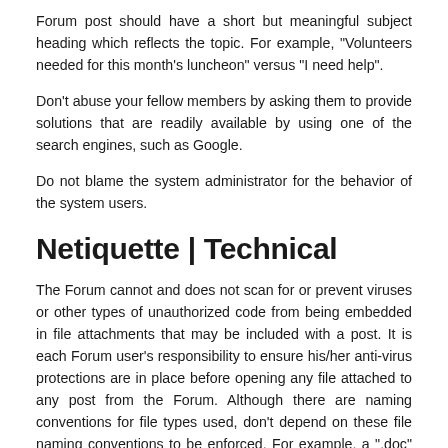Forum post should have a short but meaningful subject heading which reflects the topic. For example, "Volunteers needed for this month's luncheon" versus "I need help".
Don't abuse your fellow members by asking them to provide solutions that are readily available by using one of the search engines, such as Google.
Do not blame the system administrator for the behavior of the system users.
Netiquette | Technical
The Forum cannot and does not scan for or prevent viruses or other types of unauthorized code from being embedded in file attachments that may be included with a post. It is each Forum user's responsibility to ensure his/her anti-virus protections are in place before opening any file attached to any post from the Forum. Although there are naming conventions for file types used, don't depend on these file naming conventions to be enforced. For example, a ".doc" file is not always a Word file.
Respect the copyright on material that you reproduce. Almost